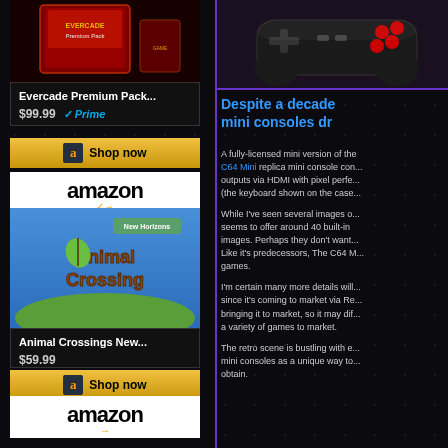[Figure (photo): Evercade game cartridge/console product photo on dark background]
Evercade Premium Pack...
$99.99 ✓Prime
Shop now
[Figure (logo): Amazon logo with orange arrow]
[Figure (photo): Animal Crossing New Horizons game]
Animal Crossings New...
$59.99
Shop now
[Figure (logo): Amazon logo with orange arrow (second)]
[Figure (photo): Mini console/controller photo on dark background with purple border]
Despite a decade mini consoles dr
A fully-licensed mini version of the C64 Mini replica mini console con... outputs via HDMI with pixel perfe... (the keyboard shown on the case...
While I've seen several images o... seems to offer around 40 built-in images. Perhaps they don't want... Like it's predecessors, The C64 M... games.
I'm certain many more details will... since it's coming to market via Re... bringing it to market, so it may dif... a variety of games to market.
The retro scene is bustling with e... mini consoles as a unique way to... obtain.